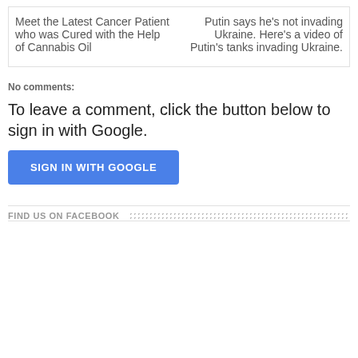Meet the Latest Cancer Patient who was Cured with the Help of Cannabis Oil
Putin says he's not invading Ukraine. Here's a video of Putin's tanks invading Ukraine.
No comments:
To leave a comment, click the button below to sign in with Google.
[Figure (other): Blue button labeled SIGN IN WITH GOOGLE]
FIND US ON FACEBOOK